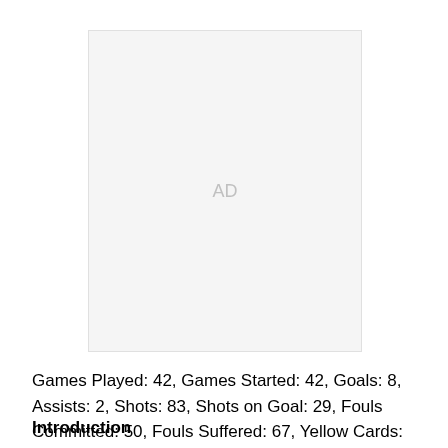[Figure (other): Advertisement placeholder box with 'AD' label in light gray]
Games Played: 42, Games Started: 42, Goals: 8, Assists: 2, Shots: 83, Shots on Goal: 29, Fouls Committed: 50, Fouls Suffered: 67, Yellow Cards: 10, Red Cards: 0.
Introduction